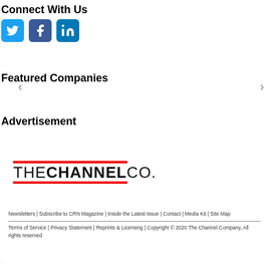Connect With Us
[Figure (illustration): Three social media icons: Twitter (blue bird), Facebook (blue f), LinkedIn (blue in)]
Featured Companies
Advertisement
[Figure (logo): The Channel Co. logo with red horizontal lines above and below the text]
Newsletters | Subscribe to CRN Magazine | Inside the Latest Issue | Contact | Media Kit | Site Map
Terms of Service | Privacy Statement | Reprints & Licensing | Copyright © 2020 The Channel Company, All rights reserved